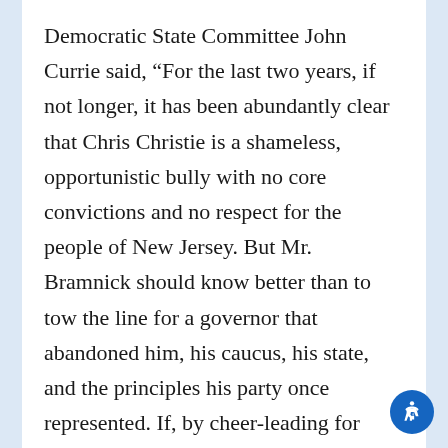Democratic State Committee John Currie said, “For the last two years, if not longer, it has been abundantly clear that Chris Christie is a shameless, opportunistic bully with no core convictions and no respect for the people of New Jersey. But Mr. Bramnick should know better than to tow the line for a governor that abandoned him, his caucus, his state, and the principles his party once represented. If, by cheer-leading for Donald Trump and Chris Christie, he is signalling an interest in leading an